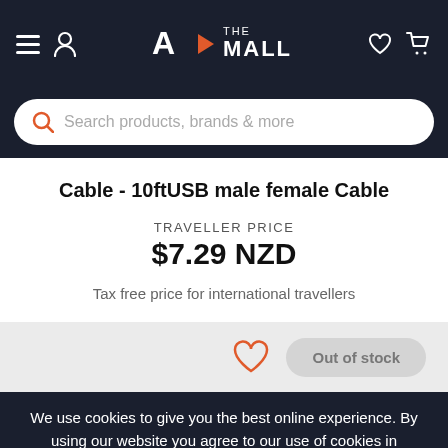[Figure (screenshot): AX The Mall e-commerce mobile app navigation bar with hamburger menu, user icon, logo, heart icon, and cart icon on dark background]
[Figure (screenshot): Search bar with orange magnifying glass icon and placeholder text 'Search products, brands & more']
Cable - 10ftUSB male female Cable
TRAVELLER PRICE
$7.29 NZD
Tax free price for international travellers
[Figure (screenshot): Heart (wishlist) icon in orange outline and 'Out of stock' grey pill button on light grey background]
We use cookies to give you the best online experience. By using our website you agree to our use of cookies in accordance with our privacy policy
Continue